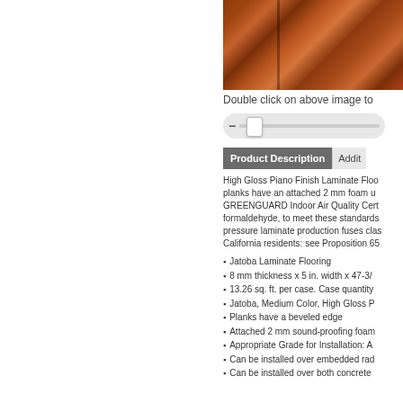[Figure (photo): Wood flooring plank texture, reddish-brown Jatoba hardwood with visible grain lines]
Double click on above image to
[Figure (other): Horizontal image zoom slider control with minus button and thumb handle]
Product Description | Addit
High Gloss Piano Finish Laminate Floo... planks have an attached 2 mm foam u... GREENGUARD Indoor Air Quality Cert... formaldehyde, to meet these standards... pressure laminate production fuses clas... California residents: see Proposition 65
Jatoba Laminate Flooring
8 mm thickness x 5 in. width x 47-3/
13.26 sq. ft. per case. Case quantity
Jatoba, Medium Color, High Gloss P
Planks have a beveled edge
Attached 2 mm sound-proofing foam
Appropriate Grade for Installation: A
Can be installed over embedded rad
Can be installed over both concrete